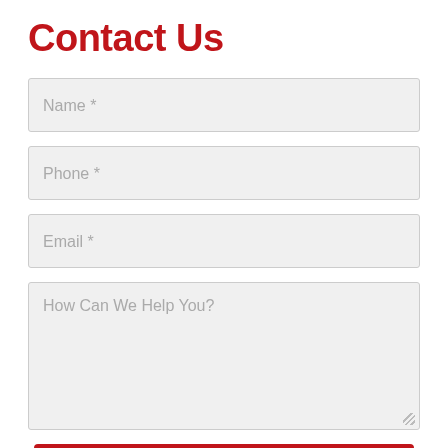Contact Us
Name *
Phone *
Email *
How Can We Help You?
SUBMIT